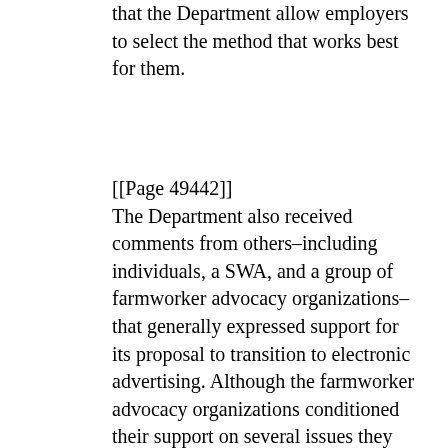that the Department allow employers to select the method that works best for them.
[[Page 49442]] The Department also received comments from others–including individuals, a SWA, and a group of farmworker advocacy organizations– that generally expressed support for its proposal to transition to electronic advertising. Although the farmworker advocacy organizations conditioned their support on several issues they felt needed to be addressed before the Department issued a final rule, they did not contend that the newspaper advertisements